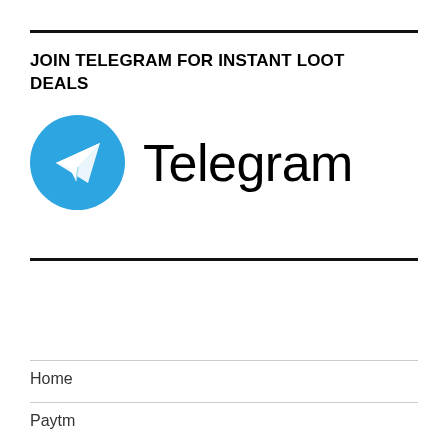JOIN TELEGRAM FOR INSTANT LOOT DEALS
[Figure (logo): Telegram logo: blue circle with white paper plane icon, followed by the word 'Telegram' in large black sans-serif text]
Home
Paytm